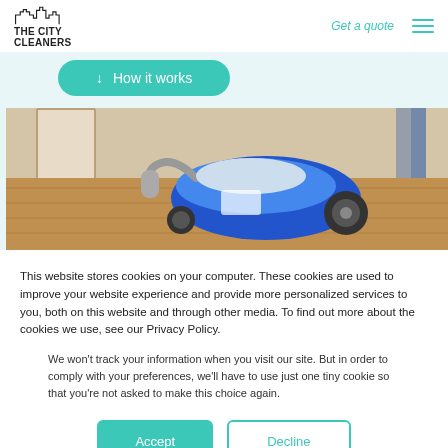THE CITY CLEANERS — Get a quote
[Figure (screenshot): A teal rounded rectangle button with a down arrow and text 'How it works']
[Figure (photo): Close-up photo of a blue vacuum cleaner / steam cleaner on a wooden floor in a home setting]
This website stores cookies on your computer. These cookies are used to improve your website experience and provide more personalized services to you, both on this website and through other media. To find out more about the cookies we use, see our Privacy Policy.
We won't track your information when you visit our site. But in order to comply with your preferences, we'll have to use just one tiny cookie so that you're not asked to make this choice again.